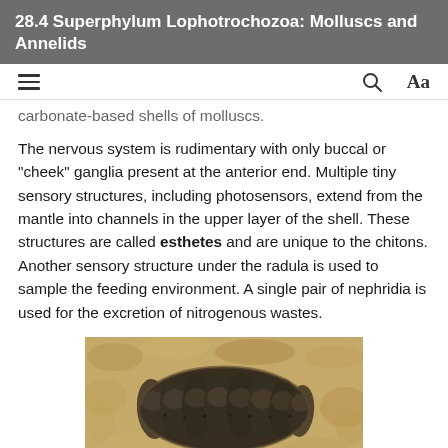28.4 Superphylum Lophotrochozoa: Molluscs and Annelids
carbonate-based shells of molluscs.
The nervous system is rudimentary with only buccal or “cheek” ganglia present at the anterior end. Multiple tiny sensory structures, including photosensors, extend from the mantle into channels in the upper layer of the shell. These structures are called esthetes and are unique to the chitons. Another sensory structure under the radula is used to sample the feeding environment. A single pair of nephridia is used for the excretion of nitrogenous wastes.
[Figure (photo): Close-up photograph of a chiton, showing its segmented shell plates on a rocky surface.]